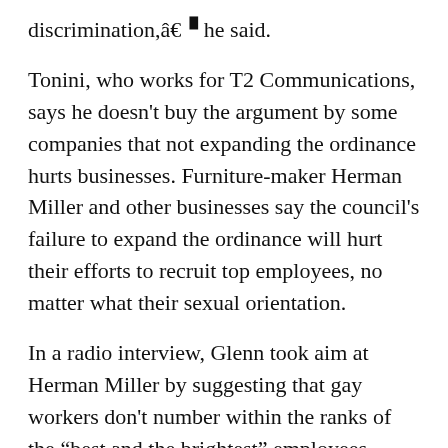discrimination,â€▝ he said.
Tonini, who works for T2 Communications, says he doesn't buy the argument by some companies that not expanding the ordinance hurts businesses. Furniture-maker Herman Miller and other businesses say the council's failure to expand the ordinance will hurt their efforts to recruit top employees, no matter what their sexual orientation.
In a radio interview, Glenn took aim at Herman Miller by suggesting that gay workers don't number within the ranks of the “best and the brightest” employees.
Glenn is president of the American Family